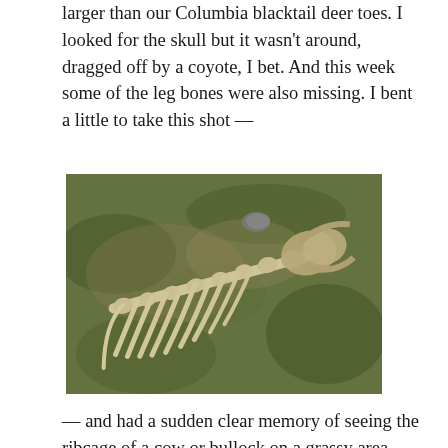larger than our Columbia blacktail deer toes. I looked for the skull but it wasn't around, dragged off by a coyote, I bet. And this week some of the leg bones were also missing. I bent a little to take this shot —
[Figure (photo): A deer or animal skeleton ribcage and spine lying on green-brown grassy ground, bones bleached white/tan, viewed from above at a slight angle.]
— and had a sudden clear memory of seeing the ribcage of a cow or bullock on a grassy area